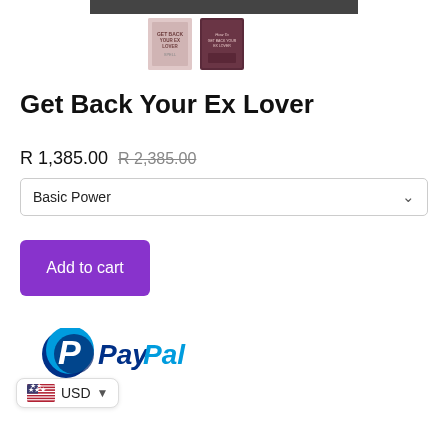[Figure (photo): Top portion of a product image (cropped, dark background)]
[Figure (photo): Two product thumbnail images side by side showing 'Get Back Your Ex Lover Spell' book covers]
Get Back Your Ex Lover
R 1,385.00  R 2,385.00 (strikethrough)
Basic Power (dropdown selector)
Add to cart
[Figure (logo): PayPal logo]
USD (currency selector with US flag)